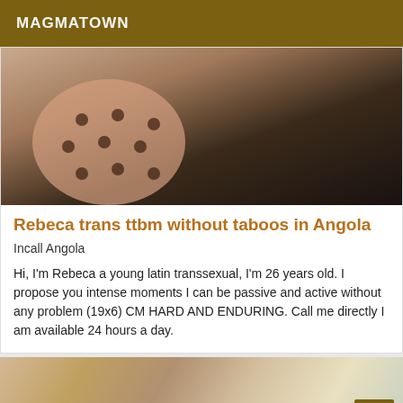MAGMATOWN
[Figure (photo): Close-up photo of a person wearing polka dot lingerie and dark leather clothing]
Rebeca trans ttbm without taboos in Angola
Incall Angola
Hi, I'm Rebeca a young latin transsexual, I'm 26 years old. I propose you intense moments I can be passive and active without any problem (19x6) CM HARD AND ENDURING. Call me directly I am available 24 hours a day.
[Figure (photo): Partial photo of a person, VIP badge visible in bottom right corner]